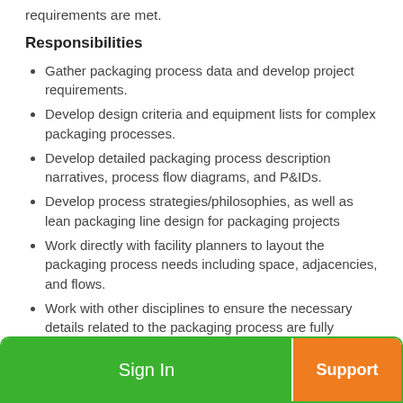requirements are met.
Responsibilities
Gather packaging process data and develop project requirements.
Develop design criteria and equipment lists for complex packaging processes.
Develop detailed packaging process description narratives, process flow diagrams, and P&IDs.
Develop process strategies/philosophies, as well as lean packaging line design for packaging projects
Work directly with facility planners to layout the packaging process needs including space, adjacencies, and flows.
Work with other disciplines to ensure the necessary details related to the packaging process are fully coordinated.
Research equipment providers and make recommendations and selections based on client and project requirements.
Lead writing process equipment specifications...